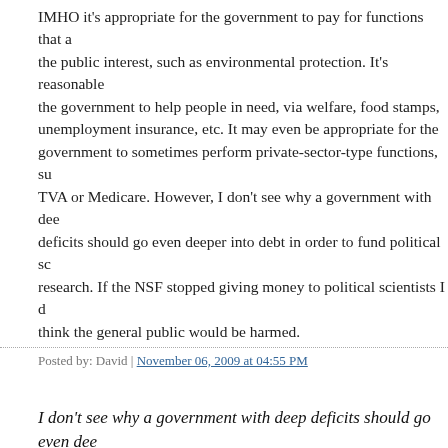IMHO it's appropriate for the government to pay for functions that are in the public interest, such as environmental protection. It's reasonable for the government to help people in need, via welfare, food stamps, unemployment insurance, etc. It may even be appropriate for the government to sometimes perform private-sector-type functions, such as TVA or Medicare. However, I don't see why a government with deep deficits should go even deeper into debt in order to fund political science research. If the NSF stopped giving money to political scientists I don't think the general public would be harmed.
Posted by: David | November 06, 2009 at 04:55 PM
I don't see why a government with deep deficits should go even deeper into debt in order to fund political science research.
The entire NSF budget is about $6 billion per year. That's a fraction of a percent of total expenditures. You could cancel the whole program and it would make no difference to the federal budget deficit.
Posted by: Jinchi | November 06, 2009 at 05:27 PM